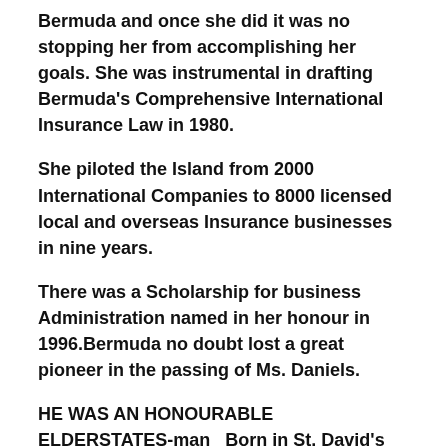Bermuda and once she did it was no stopping her from accomplishing her goals. She was instrumental in drafting Bermuda's Comprehensive International Insurance Law in 1980.
She piloted the Island from 2000 International Companies to 8000 licensed local and overseas Insurance businesses in nine years.
There was a Scholarship for business Administration named in her honour in 1996.Bermuda no doubt lost a great pioneer in the passing of Ms. Daniels.
HE WAS AN HONOURABLE ELDERSTATES-man  Born in St. David's
WILLIAM SOUTHWORTH COOPER O.B.E. was elected